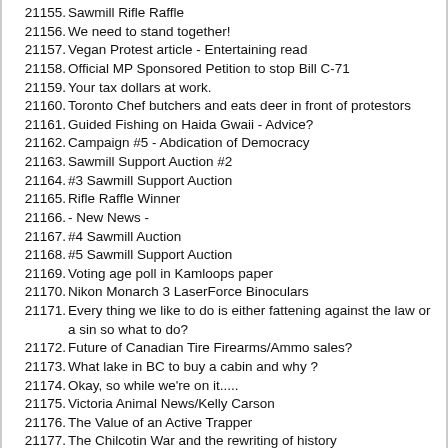21155. Sawmill Rifle Raffle
21156. We need to stand together!
21157. Vegan Protest article - Entertaining read
21158. Official MP Sponsored Petition to stop Bill C-71
21159. Your tax dollars at work.
21160. Toronto Chef butchers and eats deer in front of protestors
21161. Guided Fishing on Haida Gwaii - Advice?
21162. Campaign #5 - Abdication of Democracy
21163. Sawmill Support Auction #2
21164. #3 Sawmill Support Auction
21165. Rifle Raffle Winner
21166. - New News -
21167. #4 Sawmill Auction
21168. #5 Sawmill Support Auction
21169. Voting age poll in Kamloops paper
21170. Nikon Monarch 3 LaserForce Binoculars
21171. Every thing we like to do is either fattening against the law or a sin so what to do?
21172. Future of Canadian Tire Firearms/Ammo sales?
21173. What lake in BC to buy a cabin and why ?
21174. Okay, so while we're on it.....
21175. Victoria Animal News/Kelly Carson
21176. The Value of an Active Trapper
21177. The Chilcotin War and the rewriting of history
21178. School me on 7mm-08
21179. Happy easter everyone!
21180. Thank you NDP!!
21181. Crazy , wonderfull people.
21182. Habitat First